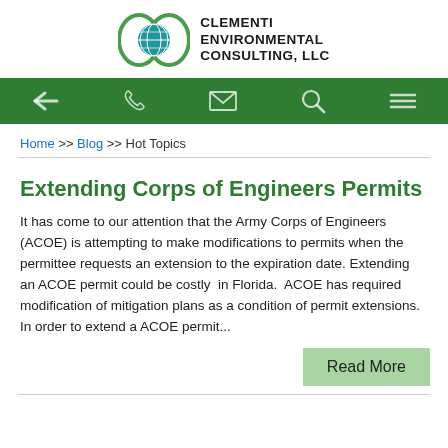[Figure (logo): Clementi Environmental Consulting LLC logo with globe icon and green oval border]
[Figure (infographic): Green navigation bar with back arrow, phone, envelope, search, and menu icons]
Home >> Blog >> Hot Topics
Extending Corps of Engineers Permits
It has come to our attention that the Army Corps of Engineers (ACOE) is attempting to make modifications to permits when the permittee requests an extension to the expiration date. Extending an ACOE permit could be costly in Florida. ACOE has required modification of mitigation plans as a condition of permit extensions. In order to extend a ACOE permit...
Read More